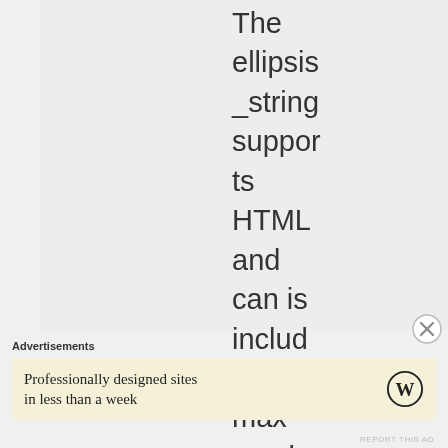The ellipsis_string supports HTML and can is included in max number of .
Advertisements
Professionally designed sites in less than a week